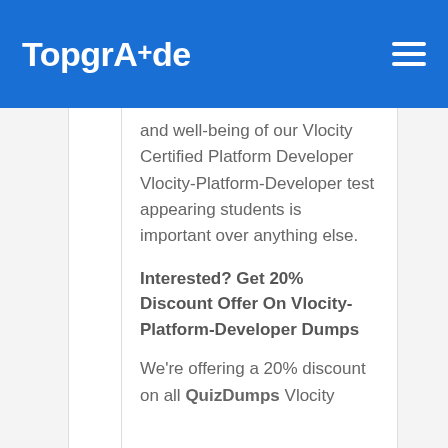TopgrAde
and well-being of our Vlocity Certified Platform Developer Vlocity-Platform-Developer test appearing students is important over anything else.
Interested? Get 20% Discount Offer On Vlocity-Platform-Developer Dumps
We're offering a 20% discount on all QuizDumps Vlocity